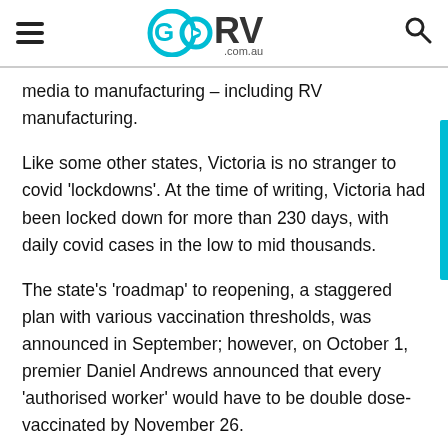GORV .com.au
media to manufacturing – including RV manufacturing.
Like some other states, Victoria is no stranger to covid 'lockdowns'. At the time of writing, Victoria had been locked down for more than 230 days, with daily covid cases in the low to mid thousands.
The state's 'roadmap' to reopening, a staggered plan with various vaccination thresholds, was announced in September; however, on October 1, premier Daniel Andrews announced that every 'authorised worker' would have to be double dose-vaccinated by November 26.
“With the Victorian government mandating full vaccination by November 26 in order to